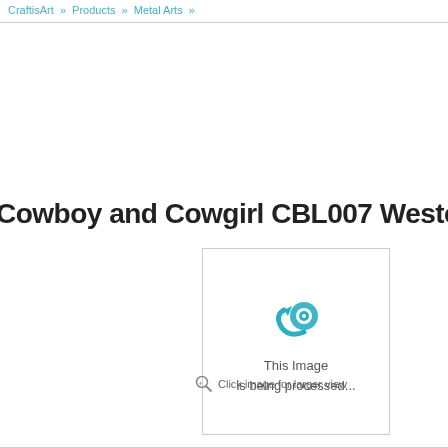CraftisArt » Products » Metal Arts »
Cowboy and Cowgirl CBL007 Western Metal Wall A
[Figure (screenshot): Image placeholder showing Blender 3D software icon with text 'This Image is being processed...']
Click image for larger view